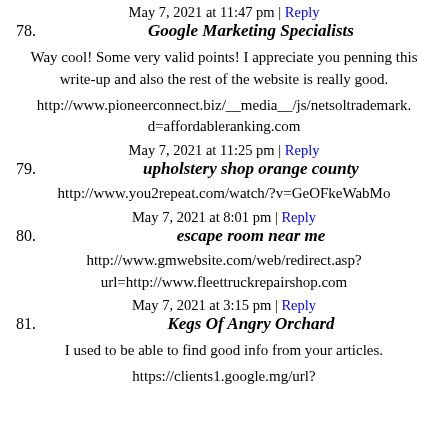May 7, 2021 at 11:47 pm | Reply
78. Google Marketing Specialists
Way cool! Some very valid points! I appreciate you penning this write-up and also the rest of the website is really good.
http://www.pioneerconnect.biz/__media__/js/netsoltrademark.d=affordableranking.com
May 7, 2021 at 11:25 pm | Reply
79. upholstery shop orange county
http://www.you2repeat.com/watch/?v=GeOFkeWabMo
May 7, 2021 at 8:01 pm | Reply
80. escape room near me
http://www.gmwebsite.com/web/redirect.asp?url=http://www.fleettruckrepairshop.com
May 7, 2021 at 3:15 pm | Reply
81. Kegs Of Angry Orchard
I used to be able to find good info from your articles.
https://clients1.google.mg/url?